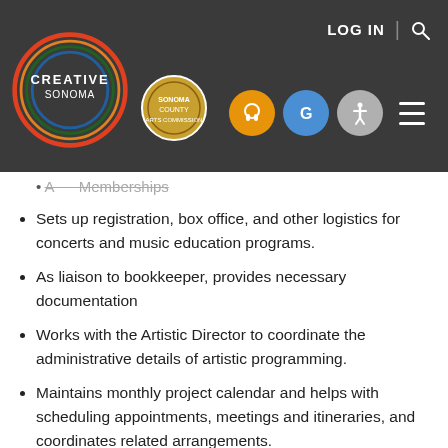[Figure (logo): Creative Sonoma website header with logo, navigation icons, LOG IN and search controls on dark gray background]
Sets up registration, box office, and other logistics for concerts and music education programs.
As liaison to bookkeeper, provides necessary documentation
Works with the Artistic Director to coordinate the administrative details of artistic programming.
Maintains monthly project calendar and helps with scheduling appointments, meetings and itineraries, and coordinates related arrangements.
Tactfully handles inquiries and/or refers to appropriate party. Refers routine matters to appropriate person for action and follows up to ensure completion.
Ensures office is neat and organized.